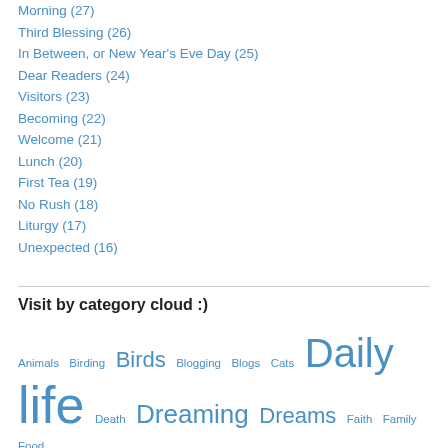Morning (27)
Third Blessing (26)
In Between, or New Year's Eve Day (25)
Dear Readers (24)
Visitors (23)
Becoming (22)
Welcome (21)
Lunch (20)
First Tea (19)
No Rush (18)
Liturgy (17)
Unexpected (16)
Visit by category cloud :)
Animals Birding Birds Blogging Blogs Cats Daily life Death Dreaming Dreams Faith Family Food